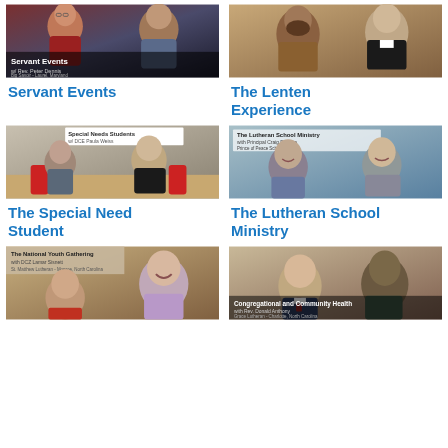[Figure (photo): Video thumbnail: Servant Events with Rev. Peter Dennis, Big Savoir - Laurel, Maryland. Shows two people, woman in red jacket and man, with overlay text.]
[Figure (photo): Video thumbnail: The Lenten Experience. Shows two men seated, one with beard in brown top, one in clerical collar.]
Servant Events
The Lenten Experience
[Figure (photo): Video thumbnail: Special Needs Students w/ DCE Paula Weiss. Shows two women seated at a table with red cups.]
[Figure (photo): Video thumbnail: The Lutheran School Ministry with Principal Craig Ettridge, Prince of Peace School. Shows two smiling women.]
The Special Need Student
The Lutheran School Ministry
[Figure (photo): Video thumbnail: The National Youth Gathering with DCZ Lamar Sisnett, St. Matthew Lutheran, Monroe, North Carolina. Shows woman in red cardigan and man in background.]
[Figure (photo): Video thumbnail: Congregational and Community Health with Rev. Donald Anthony, Grace Lutheran, Charlotte, North Carolina. Shows two men.]